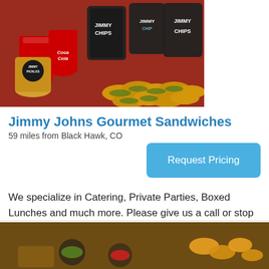[Figure (photo): Photo of Jimmy John's food spread including Coca-Cola cups, Jimmy Chips bags, and mini sandwiches/sliders on a red background]
Jimmy Johns Gourmet Sandwiches
59 miles from Black Hawk, CO
Request Pricing
We specialize in Catering, Private Parties, Boxed Lunches and much more. Please give us a call or stop by our store. For an online menu go to jimmyjohns.com
[Figure (photo): Partial photo of food items including dipping sauces and fried appetizers on a dark surface, visible at bottom of page]